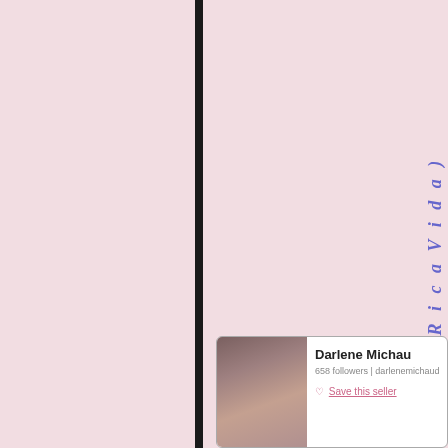tion, QueRicaVida)
[Figure (photo): Seller profile card showing a woman with dark hair, name Darlene Michaud, 658 followers, darlenemichaud username, with Save this seller link]